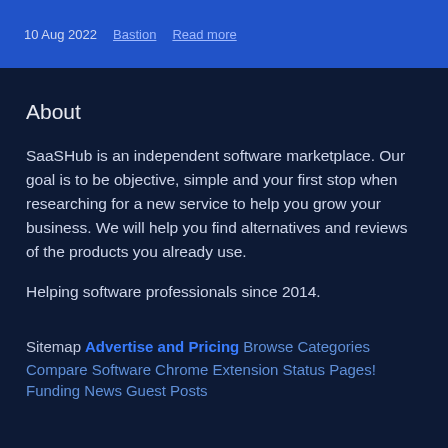10 Aug 2022  Bastion  Read more
About
SaaSHub is an independent software marketplace. Our goal is to be objective, simple and your first stop when researching for a new service to help you grow your business. We will help you find alternatives and reviews of the products you already use.
Helping software professionals since 2014.
Sitemap
Advertise and Pricing
Browse Categories
Compare Software
Chrome Extension
Status Pages!
Funding News
Guest Posts